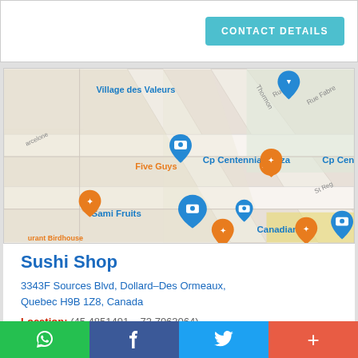CONTACT DETAILS
[Figure (map): Google Maps screenshot showing area near Dollard-Des Ormeaux, Quebec, with markers for Five Guys, Sami Fruits, Canadian Tire, McDonald's, Cp Centennial Plaza, Village des Valeurs, Restaurant Birdhouse Wingerie & Bar]
Sushi Shop
3343F Sources Blvd, Dollard-Des Ormeaux, Quebec H9B 1Z8, Canada
Location: (45.4851491, -73.7963064)
WhatsApp | Facebook | Twitter | +